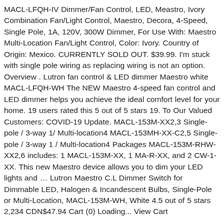MACL-LFQH-IV Dimmer/Fan Control, LED, Meastro, Ivory Combination Fan/Light Control, Maestro, Decora, 4-Speed, Single Pole, 1A, 120V, 300W Dimmer, For Use With: Maestro Multi-Location Fan/Light Control, Color: Ivory. Country of Origin: Mexico. CURRENTLY SOLD OUT. $39.99. I'm stuck with single pole wiring as replacing wiring is not an option. Overview . Lutron fan control & LED dimmer Maestro white MACL-LFQH-WH The NEW Maestro 4-speed fan control and LED dimmer helps you achieve the ideal comfort level for your home. 19 users rated this 5 out of 5 stars 19. To Our Valued Customers: COVID-19 Update. MACL-153M-XX2,3 Single-pole / 3-way 1/ Multi-location4 MACL-153MH-XX-C2,5 Single-pole / 3-way 1 / Multi-location4 Packages MACL-153M-RHW- XX2,6 includes: 1 MACL-153M-XX, 1 MA-R-XX, and 2 CW-1-XX. This new Maestro device allows you to dim your LED lights and … Lutron Maestro C.L Dimmer Switch for Dimmable LED, Halogen & Incandescent Bulbs, Single-Pole or Multi-Location, MACL-153M-WH, White 4.5 out of 5 stars 2,234 CDN$47.94 Cart (0) Loading... View Cart